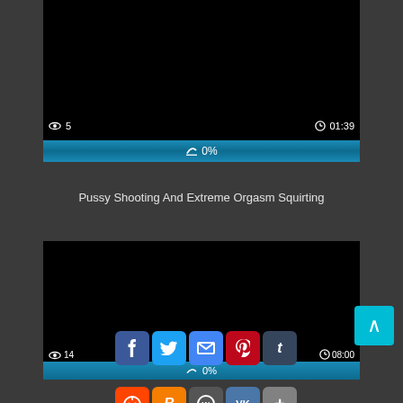[Figure (screenshot): Video thumbnail - black screen, first video card with view count 5, duration 01:39]
👁 5   🕐 01:39
👍 0%
Pussy Shooting And Extreme Orgasm Squirting
[Figure (screenshot): Second video thumbnail - black screen with view count 14, duration 08:00]
👁 14   🕐 08:00
0%
[Figure (other): Social sharing buttons: Facebook, Twitter, Email, Pinterest, Tumblr, Reddit, Blogger, WordPress, VK, More. Plus scroll-to-top button.]